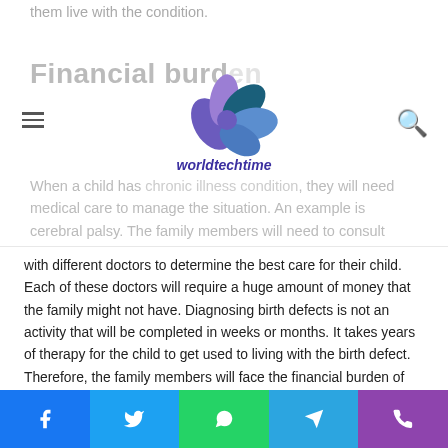them live with the condition.
Financial burd...
[Figure (logo): worldtechtime logo with stylized flower and text 'worldtechtime']
When a child has [chronic conditions], they will need medical care to manage the situation. An example is cerebral palsy. The family members will need to consult with different doctors to determine the best care for their child. Each of these doctors will require a huge amount of money that the family might not have. Diagnosing birth defects is not an activity that will be completed in weeks or months. It takes years of therapy for the child to get used to living with the birth defect. Therefore, the family members will face the financial burden of getting the child the best health care possible.